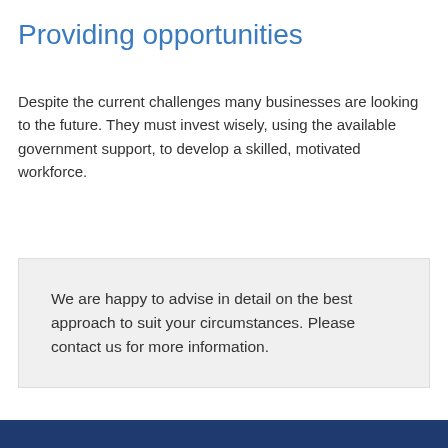Providing opportunities
Despite the current challenges many businesses are looking to the future. They must invest wisely, using the available government support, to develop a skilled, motivated workforce.
We are happy to advise in detail on the best approach to suit your circumstances. Please contact us for more information.